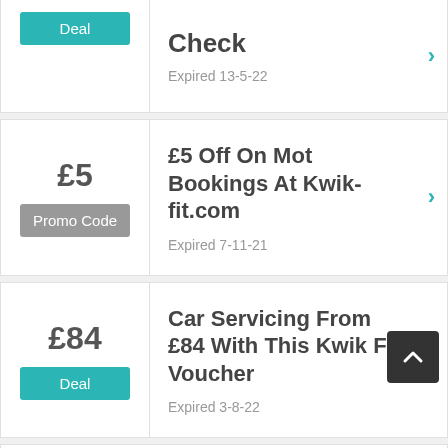Deal
Check
Expired 13-5-22
£5
Promo Code
£5 Off On Mot Bookings At Kwik-fit.com
Expired 7-11-21
£84
Deal
Car Servicing From £84 With This Kwik Fit Voucher
Expired 3-8-22